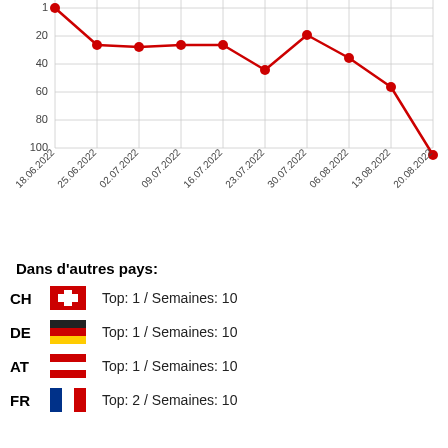[Figure (line-chart): Chart ranking over time]
Dans d'autres pays:
CH  Top: 1 / Semaines: 10
DE  Top: 1 / Semaines: 10
AT  Top: 1 / Semaines: 10
FR  Top: 2 / Semaines: 10